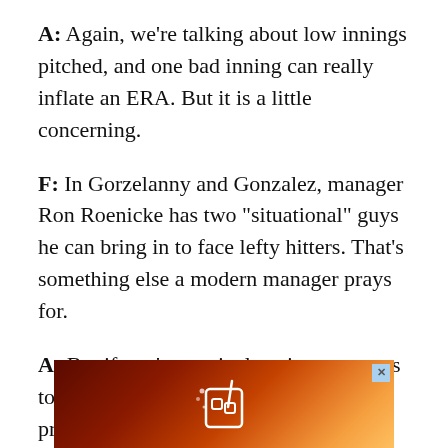A: Again, we're talking about low innings pitched, and one bad inning can really inflate an ERA. But it is a little concerning.
F: In Gorzelanny and Gonzalez, manager Ron Roenicke has two "situational" guys he can bring in to face lefty hitters. That's something else a modern manager prays for.
A: But if you're routinely using two guys to get one hitter each, that means you're probably using four or five relievers per game, even when you win.
[Figure (photo): Advertisement banner with dark reddish-brown and orange gradient background showing a drink icon in white, with a small close (X) button in the top right corner.]